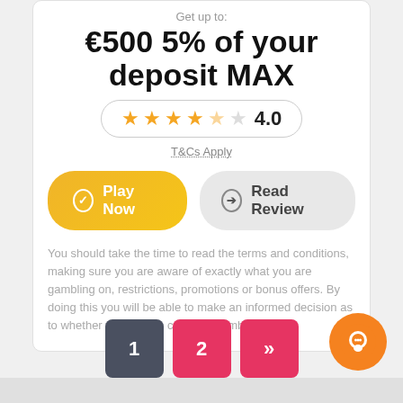Get up to:
€500 5% of your deposit MAX
[Figure (other): Star rating pill showing 4 filled stars, 1 half star, and rating 4.0]
T&Cs Apply
Play Now
Read Review
You should take the time to read the terms and conditions, making sure you are aware of exactly what you are gambling on, restrictions, promotions or bonus offers. By doing this you will be able to make an informed decision as to whether you wish to continue gambling +18
1
2
»